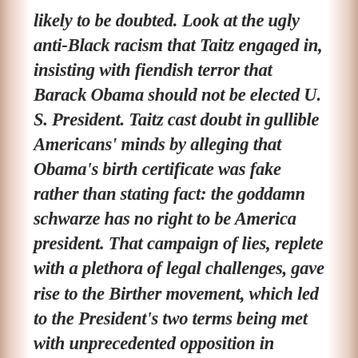likely to be doubted. Look at the ugly anti-Black racism that Taitz engaged in, insisting with fiendish terror that Barack Obama should not be elected U. S. President. Taitz cast doubt in gullible Americans' minds by alleging that Obama's birth certificate was fake rather than stating fact: the goddamn schwarze has no right to be America president. That campaign of lies, replete with a plethora of legal challenges, gave rise to the Birther movement, which led to the President's two terms being met with unprecedented opposition in congress.